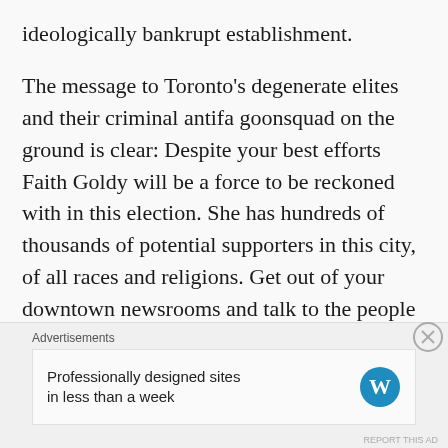ideologically bankrupt establishment.
The message to Toronto's degenerate elites and their criminal antifa goonsquad on the ground is clear: Despite your best efforts Faith Goldy will be a force to be reckoned with in this election. She has hundreds of thousands of potential supporters in this city, of all races and religions. Get out of your downtown newsrooms and talk to the people of Etobicoke, North York and Scarborough if you don't believe me.
Then get ready for the rightwing maelstrom about to hit Toronto...
Advertisements
Professionally designed sites in less than a week